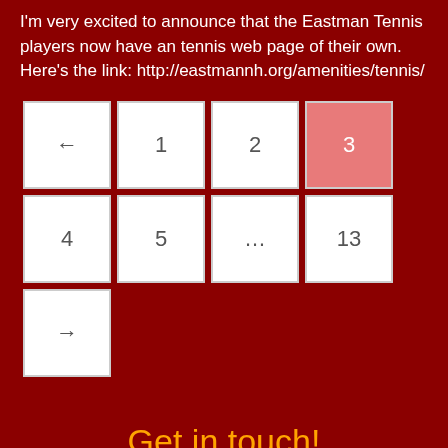I'm very excited to announce that the Eastman Tennis players now have an tennis web page of their own. Here's the link: http://eastmannh.org/amenities/tennis/
[Figure (other): Pagination navigation with buttons: ←, 1, 2, 3 (active/highlighted), 4, 5, ..., 13, and → on next row]
Get in touch!
If you are buying or selling a home in Eastman, why not start with a no strings attached chat?